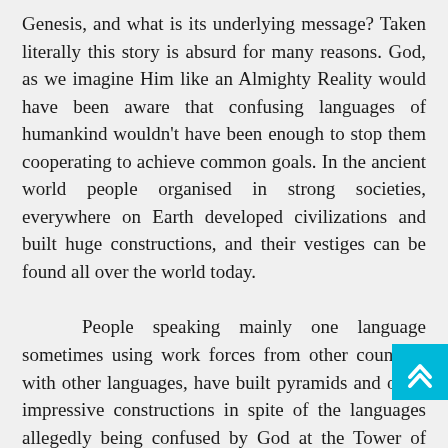Genesis, and what is its underlying message? Taken literally this story is absurd for many reasons. God, as we imagine Him like an Almighty Reality would have been aware that confusing languages of humankind wouldn't have been enough to stop them cooperating to achieve common goals. In the ancient world people organised in strong societies, everywhere on Earth developed civilizations and built huge constructions, and their vestiges can be found all over the world today.
People speaking mainly one language sometimes using work forces from other countries with other languages, have built pyramids and other impressive constructions in spite of the languages allegedly being confused by God at the Tower of Babel. Moreover, the